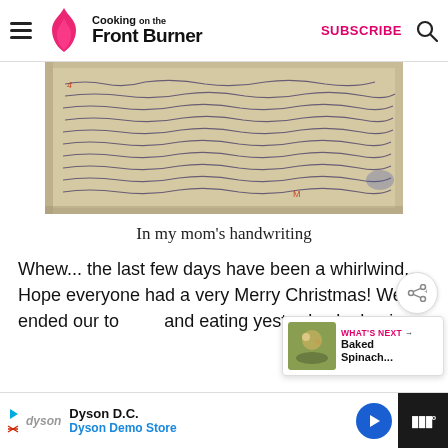Cooking on the Front Burner — SUBSCRIBE
[Figure (photo): A photograph of old handwritten recipe notes on aged paper, written in cursive with blue/dark ink. Multiple lines of cursive handwriting fill the page.]
In my mom's handwriting
Whew... the last few days have been a whirlwind... Hope everyone had a very Merry Christmas! We ended our touring and eating yesterday by having
Dyson D.C. Dyson Demo Store